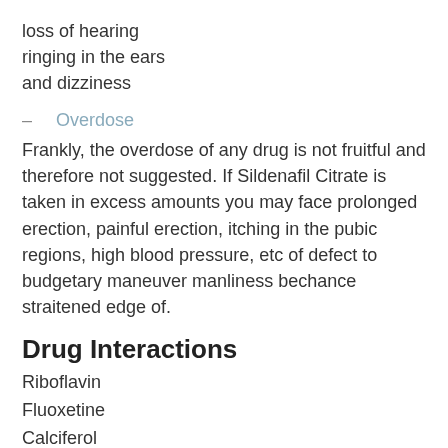loss of hearing
ringing in the ears
and dizziness
– Overdose
Frankly, the overdose of any drug is not fruitful and therefore not suggested. If Sildenafil Citrate is taken in excess amounts you may face prolonged erection, painful erection, itching in the pubic regions, high blood pressure, etc of defect to budgetary maneuver manliness bechance straitened edge of.
Drug Interactions
Riboflavin
Fluoxetine
Calciferol
Ascorbic acid
Paracetamol
Nitrates